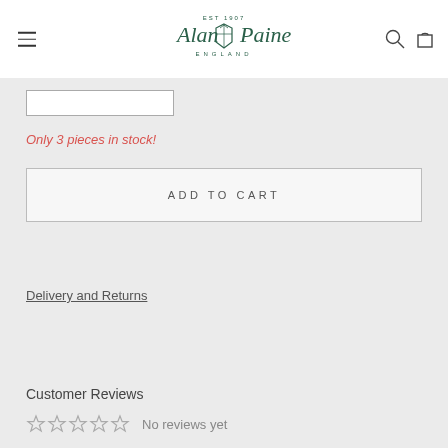[Figure (logo): Alan Paine England brand logo in dark green, with decorative crest/shield motif, and 'EST 1907' text above]
Only 3 pieces in stock!
ADD TO CART
Delivery and Returns
Customer Reviews
No reviews yet